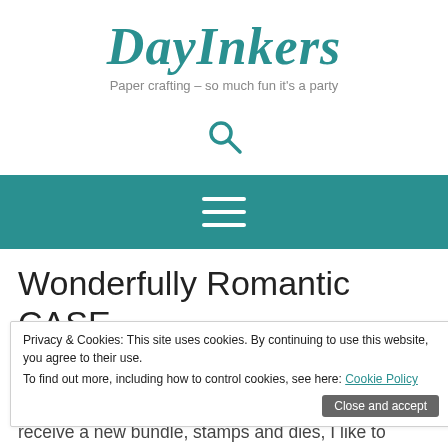DayInkers
Paper crafting – so much fun it's a party
[Figure (other): Search icon (magnifying glass)]
[Figure (other): Navigation hamburger menu icon (three horizontal lines) on teal background]
Wonderfully Romantic CASE
Privacy & Cookies: This site uses cookies. By continuing to use this website, you
agree to their use.
To find out more, including how to control cookies, see here: Cookie Policy
Posted on May 25, 2019 by dayinker
An often overlooked source of inspiration for your crafting projects is the Stampin' Up! catalogs. When I receive a new bundle, stamps and dies, I like to stamp each stamp with black